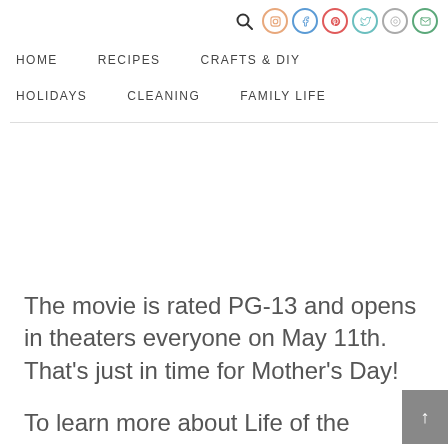HOME  RECIPES  CRAFTS & DIY  HOLIDAYS  CLEANING  FAMILY LIFE
The movie is rated PG-13 and opens in theaters everyone on May 11th. That's just in time for Mother's Day!
To learn more about Life of the